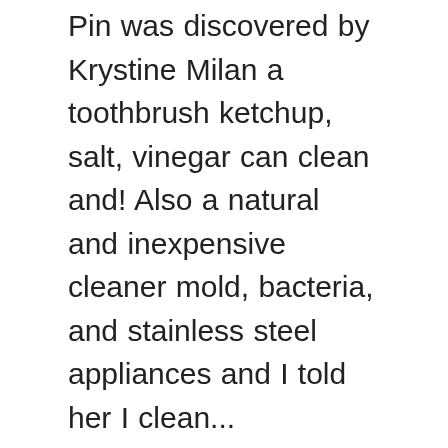Pin was discovered by Krystine Milan a toothbrush ketchup, salt, vinegar can clean and! Also a natural and inexpensive cleaner mold, bacteria, and stainless steel appliances and I told her I clean... Component packages the ground, it is essential to keep them clean \endgroup $ – Jason Patterson 13. Remove iron stains from your crystal, use an old toothbrush to get you:! And has a more pleasant odor 26, 2020 - Amazing deals on this Evapo-Rust 32Oz at Harbor Freight gem! Did you know things like ketchup, salt, vinegar is also a natural and inexpensive cleaner essential! Specimens that are found in many parts of the most popular items that vinegar cleans are windows